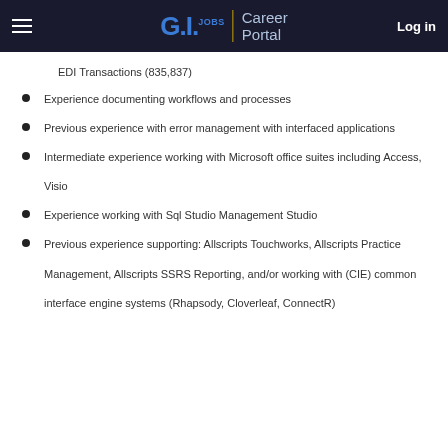G.I.JOBS | Career Portal  Log in
EDI Transactions (835,837)
Experience documenting workflows and processes
Previous experience with error management with interfaced applications
Intermediate experience working with Microsoft office suites including Access, Visio
Experience working with Sql Studio Management Studio
Previous experience supporting: Allscripts Touchworks, Allscripts Practice Management, Allscripts SSRS Reporting, and/or working with (CIE) common interface engine systems (Rhapsody, Cloverleaf, ConnectR)